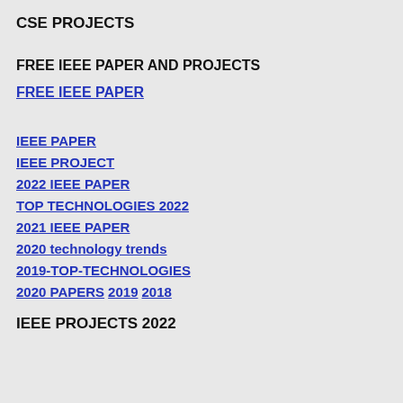CSE PROJECTS
FREE IEEE PAPER AND PROJECTS
FREE IEEE PAPER
IEEE PAPER
IEEE PROJECT
2022 IEEE PAPER
TOP TECHNOLOGIES 2022
2021 IEEE PAPER
2020 technology trends
2019-TOP-TECHNOLOGIES
2020 PAPERS  2019  2018
IEEE PROJECTS 2022